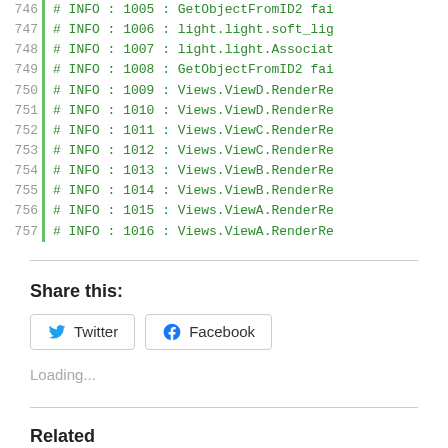746  # INFO : 1005 : GetObjectFromID2 fai
747  # INFO : 1006 : light.light.soft_lig
748  # INFO : 1007 : light.light.Associat
749  # INFO : 1008 : GetObjectFromID2 fai
750  # INFO : 1009 : Views.ViewD.RenderRe
751  # INFO : 1010 : Views.ViewD.RenderRe
752  # INFO : 1011 : Views.ViewC.RenderRe
753  # INFO : 1012 : Views.ViewC.RenderRe
754  # INFO : 1013 : Views.ViewB.RenderRe
755  # INFO : 1014 : Views.ViewB.RenderRe
756  # INFO : 1015 : Views.ViewA.RenderRe
757  # INFO : 1016 : Views.ViewA.RenderRe
Share this:
Twitter  Facebook
Loading...
Related